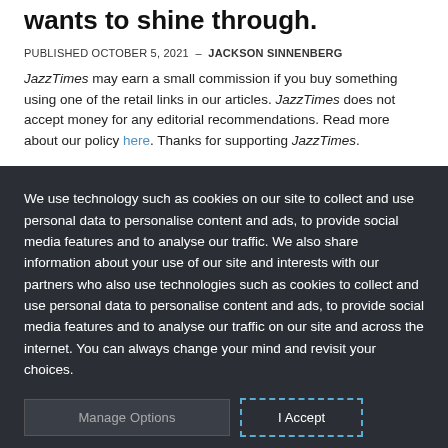wants to shine through.
PUBLISHED OCTOBER 5, 2021 – JACKSON SINNENBERG
JazzTimes may earn a small commission if you buy something using one of the retail links in our articles. JazzTimes does not accept money for any editorial recommendations. Read more about our policy here. Thanks for supporting JazzTimes.
We use technology such as cookies on our site to collect and use personal data to personalise content and ads, to provide social media features and to analyse our traffic. We also share information about your use of our site and interests with our partners who also use technologies such as cookies to collect and use personal data to personalise content and ads, to provide social media features and to analyse our traffic on our site and across the internet. You can always change your mind and revisit your choices.
Manage Options
I Accept